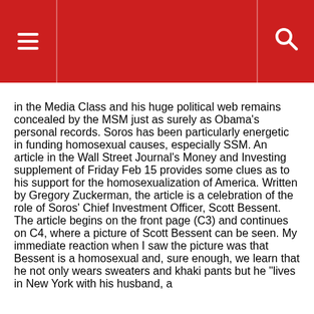≡  🔍
in the Media Class and his huge political web remains concealed by the MSM just as surely as Obama's personal records. Soros has been particularly energetic in funding homosexual causes, especially SSM. An article in the Wall Street Journal's Money and Investing supplement of Friday Feb 15 provides some clues as to his support for the homosexualization of America. Written by Gregory Zuckerman, the article is a celebration of the role of Soros' Chief Investment Officer, Scott Bessent. The article begins on the front page (C3) and continues on C4, where a picture of Scott Bessent can be seen. My immediate reaction when I saw the picture was that Bessent is a homosexual and, sure enough, we learn that he not only wears sweaters and khaki pants but he "lives in New York with his husband, a